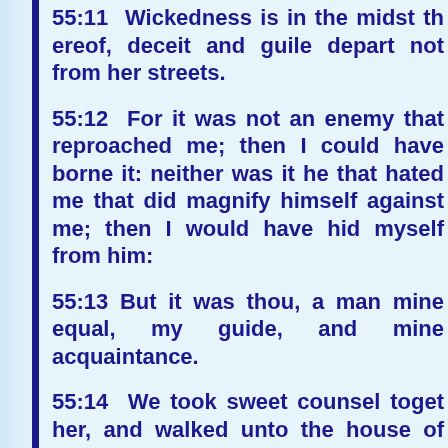55:11 Wickedness is in the midst thereof, deceit and guile depart not from her streets.
55:12 For it was not an enemy that reproached me; then I could have borne it: neither was it he that hated me that did magnify himself against me; then I would have hid myself from him:
55:13 But it was thou, a man mine equal, my guide, and mine acquaintance.
55:14 We took sweet counsel together, and walked unto the house of God in company.
55:15 Let death seize upon them, and let them go down quick into hell: for wickedness is in their dwellings, and among them.
55:16 As for me, I will call upon God; and the LORD shall save me.